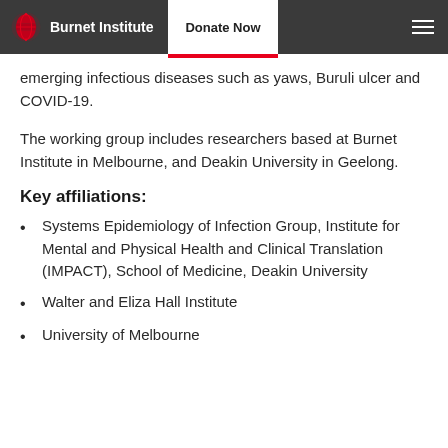Burnet Institute — Donate Now
emerging infectious diseases such as yaws, Buruli ulcer and COVID-19.
The working group includes researchers based at Burnet Institute in Melbourne, and Deakin University in Geelong.
Key affiliations:
Systems Epidemiology of Infection Group, Institute for Mental and Physical Health and Clinical Translation (IMPACT), School of Medicine, Deakin University
Walter and Eliza Hall Institute
University of Melbourne